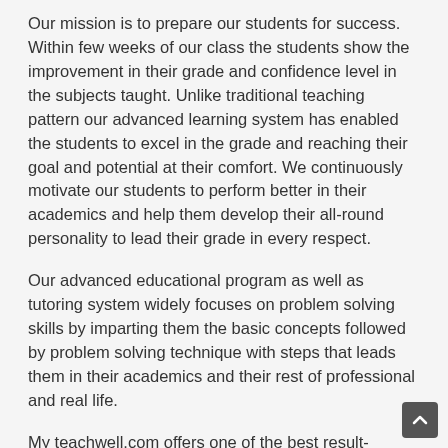Our mission is to prepare our students for success. Within few weeks of our class the students show the improvement in their grade and confidence level in the subjects taught. Unlike traditional teaching pattern our advanced learning system has enabled the students to excel in the grade and reaching their goal and potential at their comfort. We continuously motivate our students to perform better in their academics and help them develop their all-round personality to lead their grade in every respect.
Our advanced educational program as well as tutoring system widely focuses on problem solving skills by imparting them the basic concepts followed by problem solving technique with steps that leads them in their academics and their rest of professional and real life.
My teachwell.com offers one of the best result-oriented home tutors in Gurgaon NCR.  Our highly experienced faculties analyses the need of the students and accordingly plans for teaching processes which is suitable for the optimum growth of the students. We focus on the concept building of our students rather than solving their chapter problems. Through giving proper topic